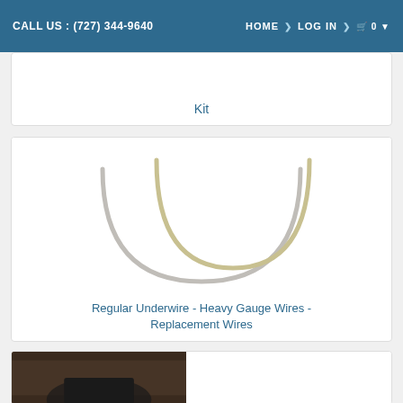CALL US : (727) 344-9640   HOME > LOG IN > 🛒 0
Kit
[Figure (photo): Two bra underwire shapes — one light grey and one yellowish/cream colored — curved U-shapes on a white background]
Regular Underwire - Heavy Gauge Wires - Replacement Wires
[Figure (photo): Partial view of a person wearing a dark garment, photographed on a dark wooden background]